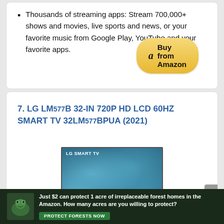Thousands of streaming apps: Stream 700,000+ shows and movies, live sports and news, or your favorite music from Google Play, YouTube and your favorite apps.
Buy from Amazon
7. LG LM577B 32-IN 720P HD LCD 60HZ SMART TV 32LM577BPUA (2021)
[Figure (photo): LG Smart TV product image showing TV screen with floral/leaf pattern background]
Just $2 can protect 1 acre of irreplaceable forest homes in the Amazon. How many acres are you willing to protect? PROTECT FORESTS NOW